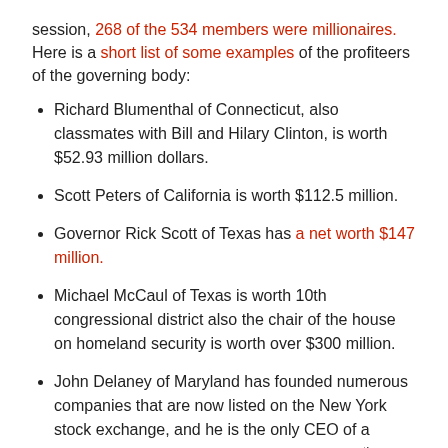session, 268 of the 534 members were millionaires. Here is a short list of some examples of the profiteers of the governing body:
Richard Blumenthal of Connecticut, also classmates with Bill and Hilary Clinton, is worth $52.93 million dollars.
Scott Peters of California is worth $112.5 million.
Governor Rick Scott of Texas has a net worth $147 million.
Michael McCaul of Texas is worth 10th congressional district also the chair of the house on homeland security is worth over $300 million.
John Delaney of Maryland has founded numerous companies that are now listed on the New York stock exchange, and he is the only CEO of a publicly traded company to serve in the 113th His net worth is $232